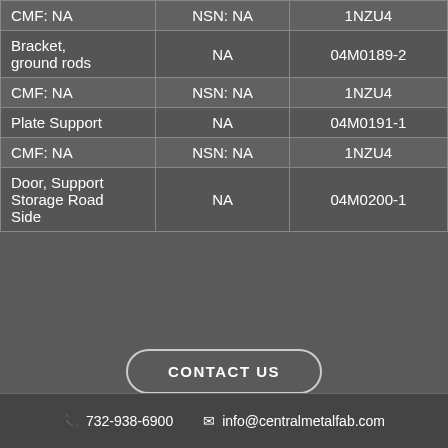| Item | NSN | Part Number |
| --- | --- | --- |
| CMF: NA | NSN: NA | 1NZU4 |
| Bracket, ground rods | NA | 04M0189-2 |
| CMF: NA | NSN: NA | 1NZU4 |
| Plate Support | NA | 04M0191-1 |
| CMF: NA | NSN: NA | 1NZU4 |
| Door, Support Storage Road Side | NA | 04M0200-1 |
CONTACT US
732-938-6900  info@centralmetalfab.com